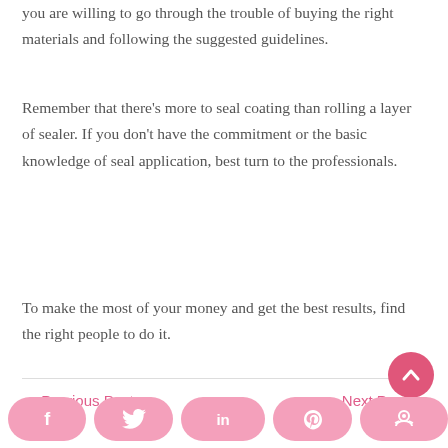you are willing to go through the trouble of buying the right materials and following the suggested guidelines.
Remember that there's more to seal coating than rolling a layer of sealer. If you don't have the commitment or the basic knowledge of seal application, best turn to the professionals.
To make the most of your money and get the best results, find the right people to do it.
← Previous Post    Next Post →